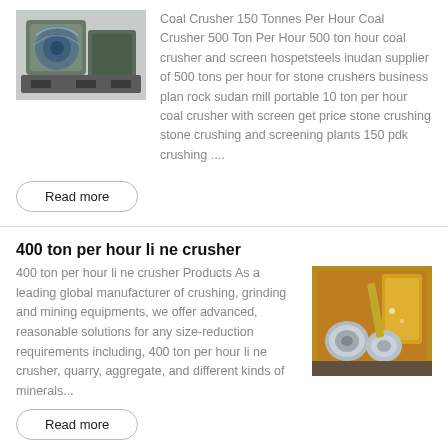[Figure (photo): Industrial coal crusher machine with green motor, photographed in a workshop setting]
Coal Crusher 150 Tonnes Per Hour Coal Crusher 500 Ton Per Hour 500 ton hour coal crusher and screen hospetsteels inudan supplier of 500 tons per hour for stone crushers business plan rock sudan mill portable 10 ton per hour coal crusher with screen get price stone crushing stone crushing and screening plants 150 pdk crushing ....
Read more
400 ton per hour li ne crusher
400 ton per hour li ne crusher Products As a leading global manufacturer of crushing, grinding and mining equipments, we offer advanced, reasonable solutions for any size-reduction requirements including, 400 ton per hour li ne crusher, quarry, aggregate, and different kinds of minerals...
[Figure (photo): Industrial crusher machinery with yellow equipment and metal cylinders, photographed in an industrial setting]
Read more